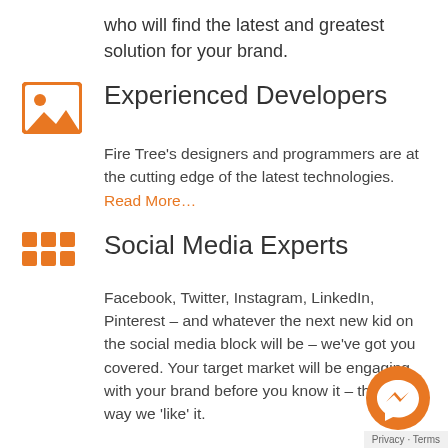who will find the latest and greatest solution for your brand.
Experienced Developers
Fire Tree's designers and programmers are at the cutting edge of the latest technologies. Read More...
Social Media Experts
Facebook, Twitter, Instagram, LinkedIn, Pinterest – and whatever the next new kid on the social media block will be – we've got you covered. Your target market will be engaging with your brand before you know it – that's the way we 'like' it.
[Figure (illustration): Orange circular Facebook Messenger chat bubble icon]
Privacy · Terms